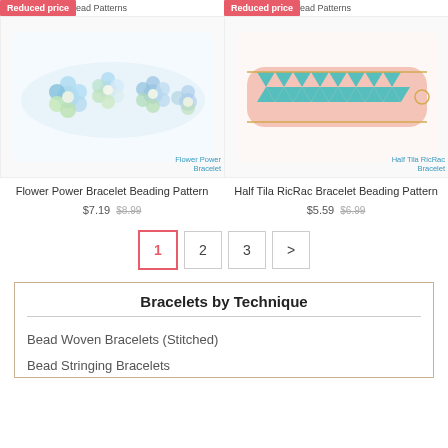[Figure (photo): Flower Power Bracelet beading pattern product image showing floral bead bracelet in blue and green tones]
Flower Power Bracelet
Flower Power Bracelet Beading Pattern
$7.19 $8.99
[Figure (photo): Half Tila RicRac Bracelet beading pattern product image showing woven bracelet in teal and pink]
Half Tila RicRac Bracelet
Half Tila RicRac Bracelet Beading Pattern
$5.59 $6.99
1 2 3 >
Bracelets by Technique
Bead Woven Bracelets (Stitched)
Bead Stringing Bracelets